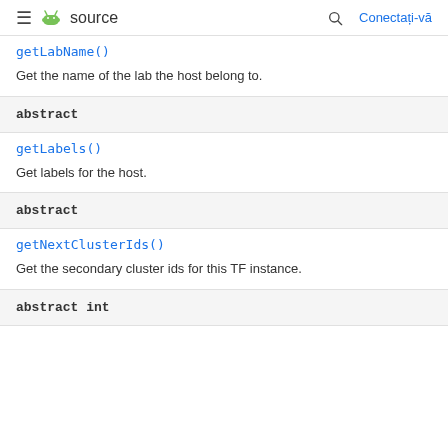≡ source | 🔍 Conectați-vă
getLabName()
Get the name of the lab the host belong to.
abstract
getLabels()
Get labels for the host.
abstract
getNextClusterIds()
Get the secondary cluster ids for this TF instance.
abstract int